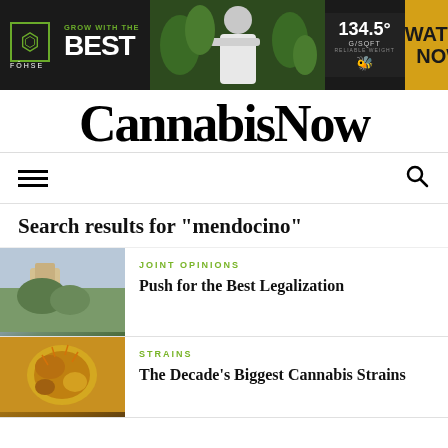[Figure (screenshot): Fohse banner advertisement: dark background with green hexagon logo, 'GROW WITH THE BEST' text, photo of man in white coat with plants, stats showing 134.5 G/SQFT, and yellow 'WATCH NOW' button with play icon]
Cannabis Now
[Figure (other): Navigation bar with hamburger menu icon on left and search icon on right]
Search results for "mendocino"
[Figure (photo): Thumbnail photo of cannabis grinding/pressing equipment on wood surface]
JOINT OPINIONS
Push for the Best Legalization
[Figure (photo): Thumbnail photo of cannabis flower bud, golden/amber color]
STRAINS
The Decade's Biggest Cannabis Strains